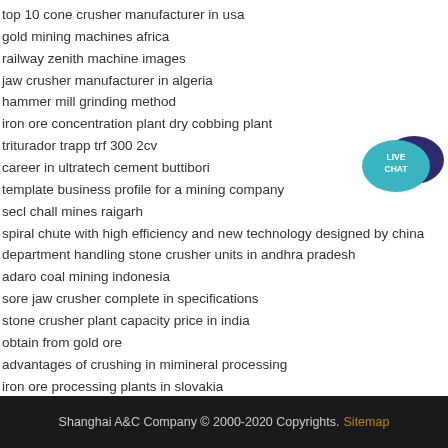top 10 cone crusher manufacturer in usa
gold mining machines africa
railway zenith machine images
jaw crusher manufacturer in algeria
hammer mill grinding method
iron ore concentration plant dry cobbing plant
triturador trapp trf 300 2cv
career in ultratech cement buttibori
template business profile for a mining company
secl chall mines raigarh
spiral chute with high efficiency and new technology designed by china
department handling stone crusher units in andhra pradesh
adaro coal mining indonesia
sore jaw crusher complete in specifications
stone crusher plant capacity price in india
obtain from gold ore
advantages of crushing in mimineral processing
iron ore processing plants in slovakia
[Figure (other): Live Chat widget with teal speech bubble and dark blue chat bubble, text LIVE CHAT]
Shanghai A&C Company © 2000-2020 Copyrights. Sitemap